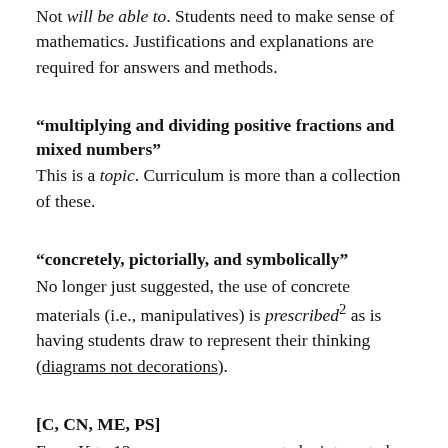Not will be able to. Students need to make sense of mathematics. Justifications and explanations are required for answers and methods.
“multiplying and dividing positive fractions and mixed numbers”
This is a topic. Curriculum is more than a collection of these.
“concretely, pictorially, and symbolically”
No longer just suggested, the use of concrete materials (i.e., manipulatives) is prescribed² as is having students draw to represent their thinking (diagrams not decorations).
[C, CN, ME, PS]
From K to 12, seven processes are to be integrated within the learning of mathematics. The ‘C’ for